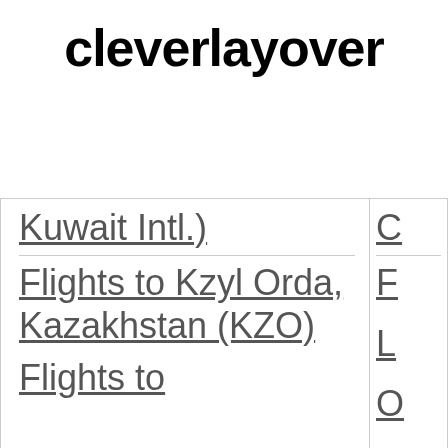cleverlayover
Kuwait Intl.)
Flights to Kzyl Orda, Kazakhstan (KZO)
Flights to